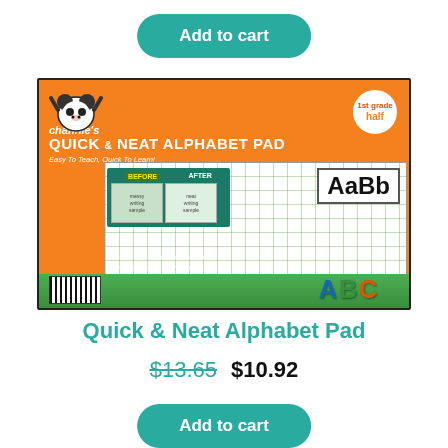Add to cart
[Figure (photo): Product packaging for Channie's Quick & Neat Alphabet Pad showing orange package with panda logo, before/after writing samples, AaBb grid pad, and colorful ABC letters on green ground]
Quick & Neat Alphabet Pad
$13.65  $10.92
Add to cart